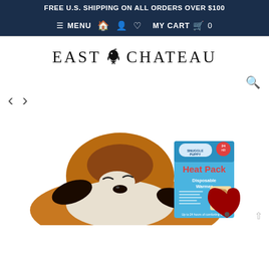FREE U.S. SHIPPING ON ALL ORDERS OVER $100
≡ MENU  🏠  👤  ♡  MY CART 🛒 0
EAST CHATEAU
[Figure (photo): Product photo of a Snuggle Puppy stuffed animal dog toy lying down with eyes closed, a Snuggle Puppy Heat Pack box (24hr Disposable Warmer) and a red heart-shaped device visible in the background.]